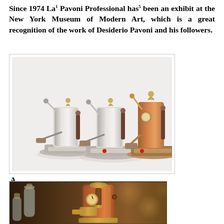Since 1974 La Pavoni Professional has been an exhibit at the New York Museum of Modern Art, which is a great recognition of the work of Desiderio Pavoni and his followers.
[Figure (photo): Three La Pavoni Professional espresso machines in chrome and copper finishes with wooden handles, displayed side by side on a white background.]
A
[Figure (photo): Close-up of a La Pavoni espresso machine in copper/gold finish with eagle ornament on top, alongside glass bottles with cork stoppers, in warm bokeh background.]